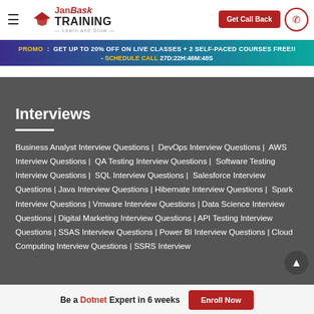JanBask TRAINING Learn and Grow | Get Call Back
PROMO : GET UP TO 20% OFF ON LIVE CLASSES + 2 SELF-PACED COURSES FREE!! - SCHEDULE CALL 27D:22H:46M:48S
Interviews
Business Analyst Interview Questions | DevOps Interview Questions | AWS Interview Questions | QA Testing Interview Questions | Software Testing Interview Questions | SQL Interview Questions | Salesforce Interview Questions | Java Interview Questions | Hibernate Interview Questions | Spark Interview Questions | Vmware Interview Questions | Data Science Interview Questions | Digital Marketing Interview Questions | API Testing Interview Questions | SSAS Interview Questions | Power BI Interview Questions | Cloud Computing Interview Questions | SSRS Interview
Be a Dotnet Expert in 6 weeks  Enroll Now